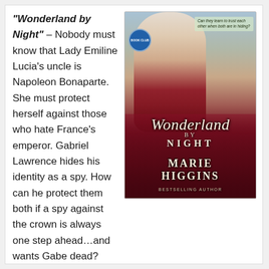"Wonderland by Night" – Nobody must know that Lady Emiline Lucia's uncle is Napoleon Bonaparte. She must protect herself against those who hate France's emperor. Gabriel Lawrence hides his identity as a spy. How can he protect them both if a spy against the crown is always one step ahead…and wants Gabe dead?
[Figure (photo): Book cover for 'Wonderland by Night' by Marie Higgins, Bestselling Author. Shows a woman in a Victorian-era dress with a dark red skirt and light bodice, standing in a room. Text at top reads 'Can they learn to trust each other when both are in hiding?']
http://a.co/gCyWsns